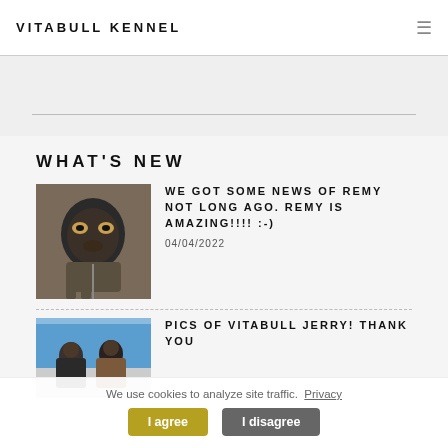VITABULL KENNEL
WHAT'S NEW
[Figure (photo): Photo of a black and tan dog on a leash]
WE GOT SOME NEWS OF REMY NOT LONG AGO. REMY IS AMAZING!!!! :-)
04/04/2022
[Figure (photo): Partial photo of people outdoors with blue sky]
PICS OF VITABULL JERRY! THANK YOU
We use cookies to analyze site traffic.  Privacy
I agree  I disagree